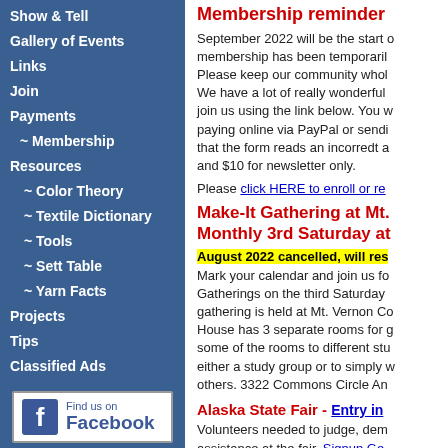Show & Tell
Gallery of Events
Links
Join
Payments
~ Membership
Resources
~ Color Theory
~ Textile Dictionary
~ Tools
~ Sett Table
~ Yarn Facts
Projects
Tips
Classified Ads
[Figure (logo): Find us on Facebook logo button]
Membership reminder
September 2022 will be the start of membership has been temporarily Please keep our community whole We have a lot of really wonderful join us using the link below. You w paying online via PayPal or sendi that the form reads an incorredt a and $10 for newsletter only.
Please click HERE to enroll or re
Make-It Gathering at Mt. Monthly 3rd Saturday at
August 2022 cancelled, will res
Mark your calendar and join us fo Gatherings on the third Saturday gathering is held at Mt. Vernon Co House has 3 separate rooms for g some of the rooms to different stu either a study group or to simply w others. 3322 Commons Circle An
Alaska State Fair - Entry in
Volunteers needed to judge, dem assistance at the fair. Signup Ge Weblink for Fiber and Fleece 20 general information: